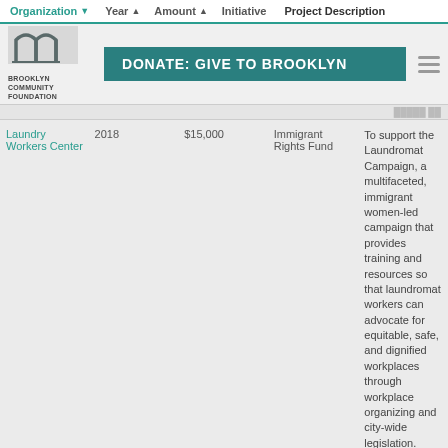Organization | Year | Amount | Initiative | Project Description
[Figure (logo): Brooklyn Community Foundation logo with arch graphic and text]
DONATE: GIVE TO BROOKLYN
| Organization | Year | Amount | Initiative | Project Description |
| --- | --- | --- | --- | --- |
| Laundry Workers Center | 2018 | $15,000 | Immigrant Rights Fund | To support the Laundromat Campaign, a multifaceted, immigrant women-led campaign that provides training and resources so that laundromat workers can advocate for equitable, safe, and dignified workplaces through workplace organizing and city-wide legislation. Funds will focus on Brooklyn's Latinx immigrant workers in retail, laundromat, and food service industries. |
| Lineage Project | 2020 | $45,000 | Invest in Youth | For mindfulness and yoga programs for incarcerated and highly-vulnerable young people, including those in living in secure and non-secure |